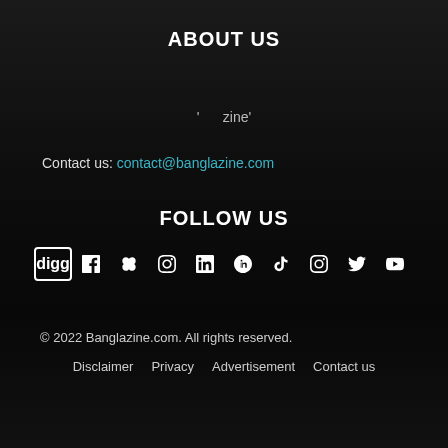ABOUT US
' zine'
Contact us: contact@banglazine.com
FOLLOW US
[Figure (infographic): Social media icons row: digg, facebook, flickr, instagram, linkedin, pinterest, reddit, tumblr, twitter, youtube]
© 2022 Banglazine.com. All rights reserved.
Disclaimer   Privacy   Advertisement   Contact us